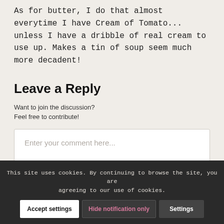As for butter, I do that almost everytime I have Cream of Tomato... unless I have a dribble of real cream to use up. Makes a tin of soup seem much more decadent!
Leave a Reply
Want to join the discussion?
Feel free to contribute!
Enter your comment here...
This site uses cookies. By continuing to browse the site, you are agreeing to our use of cookies.